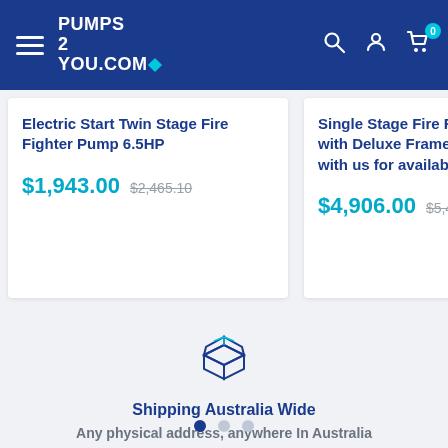[Figure (screenshot): Navigation bar with hamburger menu, Pumps2You.com logo, search icon, user icon, and cart icon with badge showing 0]
Electric Start Twin Stage Fire Fighter Pump 6.5HP
$1,943.00  $2,465.10
Single Stage Fire Fi... with Deluxe Frame ... with us for availabil...
$4,906.00  $5,4...
[Figure (illustration): Box/package shipping icon outline in dark blue]
Shipping Australia Wide
Any physical address, anywhere In Australia